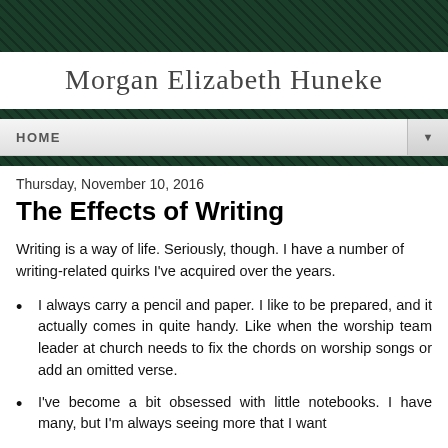Morgan Elizabeth Huneke
HOME
Thursday, November 10, 2016
The Effects of Writing
Writing is a way of life. Seriously, though. I have a number of writing-related quirks I've acquired over the years.
I always carry a pencil and paper. I like to be prepared, and it actually comes in quite handy. Like when the worship team leader at church needs to fix the chords on worship songs or add an omitted verse.
I've become a bit obsessed with little notebooks. I have many, but I'm always seeing more that I want